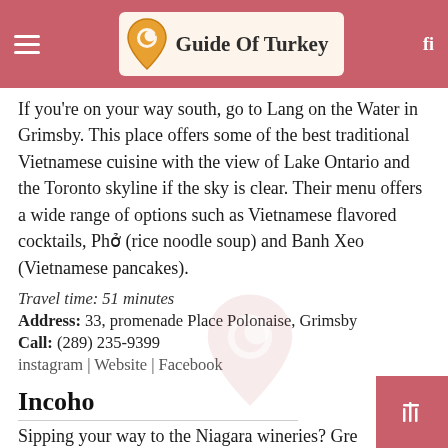Guide Of Turkey
If you're on your way south, go to Lang on the Water in Grimsby. This place offers some of the best traditional Vietnamese cuisine with the view of Lake Ontario and the Toronto skyline if the sky is clear. Their menu offers a wide range of options such as Vietnamese flavored cocktails, Phở (rice noodle soup) and Banh Xeo (Vietnamese pancakes).
Travel time: 51 minutes
Address: 33, promenade Place Polonaise, Grimsby
Call: (289) 235-9399
instagram | Website | Facebook
Incoho
Sipping your way to the Niagara wineries? Gre
Fun. Exciting. But you know what is particularly